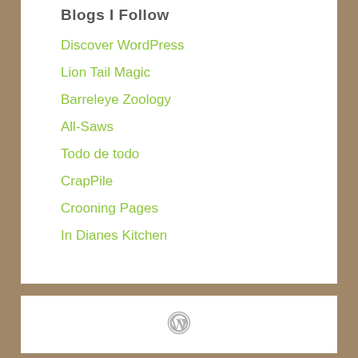Blogs I Follow
Discover WordPress
Lion Tail Magic
Barreleye Zoology
All-Saws
Todo de todo
CrapPile
Crooning Pages
In Dianes Kitchen
[Figure (logo): WordPress logo icon in grey]